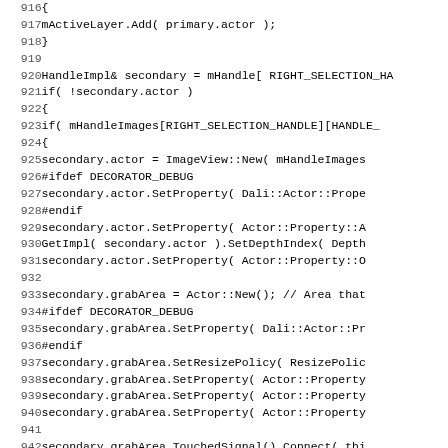Source code listing lines 916-947, showing C++ code for secondary handle actor setup with DECORATOR_DEBUG ifdefs and grab area configuration.